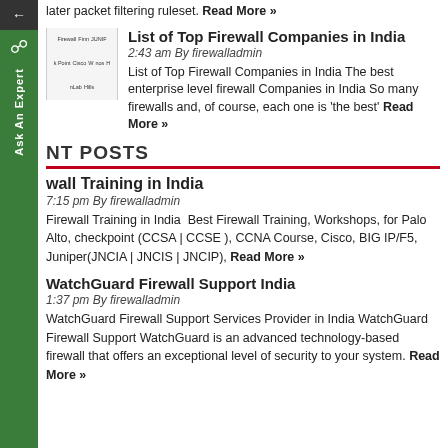later packet filtering ruleset. Read More »
List of Top Firewall Companies in India
2:43 am By firewalladmin
List of Top Firewall Companies in India The best enterprise level firewall Companies in India So many firewalls and, of course, each one is 'the best' Read More »
NT POSTS
wall Training in India
7:15 pm By firewalladmin
Firewall Training in India  Best Firewall Training, Workshops, for Palo Alto, checkpoint (CCSA | CCSE ), CCNA Course, Cisco, BIG IP/F5, Juniper(JNCIA | JNCIS | JNCIP), Read More »
WatchGuard Firewall Support India
1:37 pm By firewalladmin
WatchGuard Firewall Support Services Provider in India WatchGuard Firewall Support WatchGuard is an advanced technology-based firewall that offers an exceptional level of security to your system. Read More »